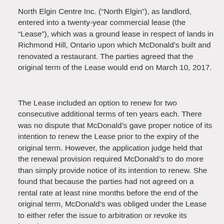North Elgin Centre Inc. (“North Elgin”), as landlord, entered into a twenty-year commercial lease (the “Lease”), which was a ground lease in respect of lands in Richmond Hill, Ontario upon which McDonald’s built and renovated a restaurant. The parties agreed that the original term of the Lease would end on March 10, 2017.
The Lease included an option to renew for two consecutive additional terms of ten years each. There was no dispute that McDonald’s gave proper notice of its intention to renew the Lease prior to the expiry of the original term. However, the application judge held that the renewal provision required McDonald’s to do more than simply provide notice of its intention to renew. She found that because the parties had not agreed on a rental rate at least nine months before the end of the original term, McDonald’s was obliged under the Lease to either refer the issue to arbitration or revoke its intention to renew.